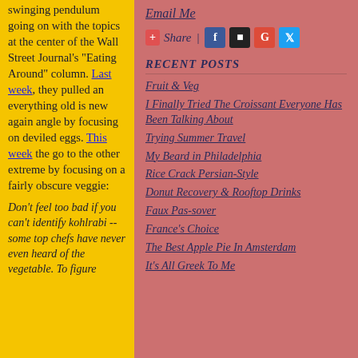swinging pendulum going on with the topics at the center of the Wall Street Journal's "Eating Around" column. Last week, they pulled an everything old is new again angle by focusing on deviled eggs. This week the go to the other extreme by focusing on a fairly obscure veggie:
Don't feel too bad if you can't identify kohlrabi -- some top chefs have never even heard of the vegetable. To figure
Email Me
[Figure (other): Share buttons row with +Share label, pipe separator, and social icons for Facebook, a square icon, Google, and Twitter]
RECENT POSTS
Fruit & Veg
I Finally Tried The Croissant Everyone Has Been Talking About
Trying Summer Travel
My Beard in Philadelphia
Rice Crack Persian-Style
Donut Recovery & Rooftop Drinks
Faux Pas-sover
France's Choice
The Best Apple Pie In Amsterdam
It's All Greek To Me